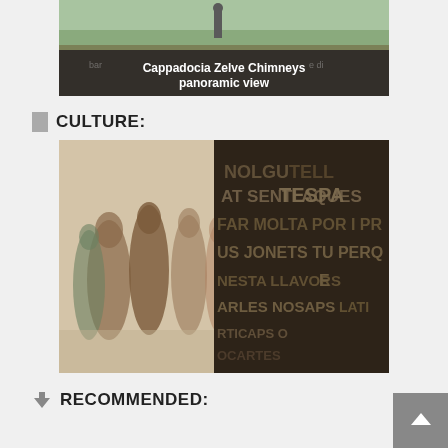[Figure (photo): Cappadocia Zelve Chimneys panoramic view - photo with semi-transparent dark overlay showing the caption text over a landscape image]
CULTURE:
[Figure (photo): Photo of people standing outdoors with an artistic stone or metal sculpture/wall in foreground covered with embossed text letters in Catalan language]
RECOMMENDED: